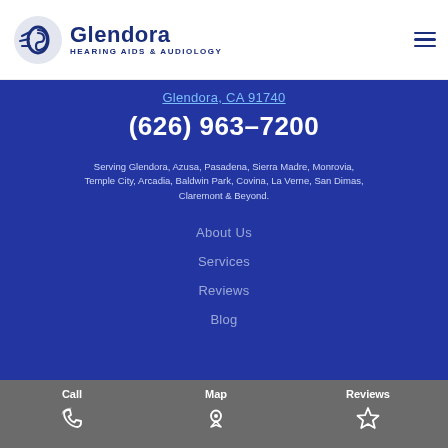Glendora Hearing Aids & Audiology
Glendora, CA 91740
(626) 963-7200
Serving Glendora, Azusa, Pasadena, Sierra Madre, Monrovia, Temple City, Arcadia, Baldwin Park, Covina, La Verne, San Dimas, Claremont & Beyond.
About Us
Services
Reviews
Blog
Call   Map   Reviews